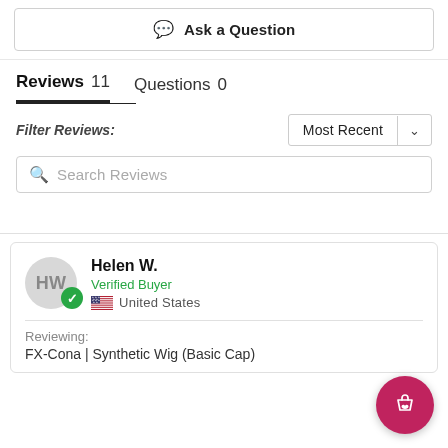Ask a Question
Reviews 11   Questions 0
Filter Reviews:
Most Recent
Search Reviews
Helen W.
Verified Buyer
United States
Reviewing:
FX-Cona | Synthetic Wig (Basic Cap)